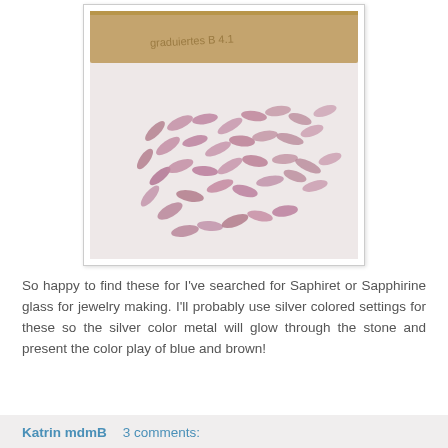[Figure (photo): A photo of small pink-purple marquise-shaped Saphiret or Sapphirine glass stones scattered on a white surface with a ruler/wooden stick in the background.]
So happy to find these for I've searched for Saphiret or Sapphirine glass for jewelry making. I'll probably use silver colored settings for these so the silver color metal will glow through the stone and present the color play of blue and brown!
Katrin mdmB   3 comments: